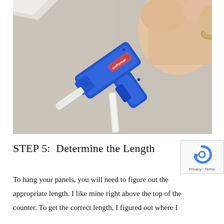[Figure (photo): A hand holding a blue Craftsman hot glue gun against a gray fabric/linen surface, with a white glue stick visible extending from the gun's barrel.]
STEP 5:  Determine the Length
To hang your panels, you will need to figure out the appropriate length. I like mine right above the top of the counter. To get the correct length, I figured out where I